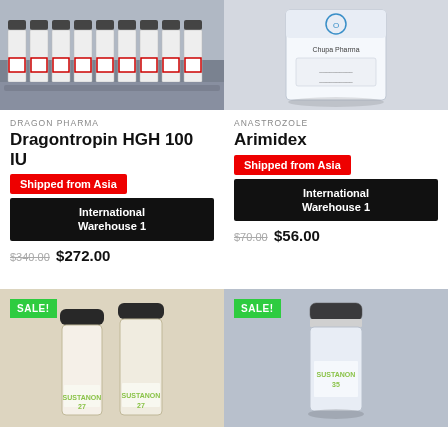[Figure (photo): Row of pharmaceutical vials with red-labeled caps in a storage tray]
[Figure (photo): Single pharmaceutical box product labeled Chupa Pharma on white background]
DRAGON PHARMA
Dragontropin HGH 100 IU
Shipped from Asia
International Warehouse 1
$340.00 $272.00
ANASTROZOLE
Arimidex
Shipped from Asia
International Warehouse 1
$70.00 $56.00
[Figure (photo): Two vials labeled SUSTANON 270 with SALE badge]
[Figure (photo): Single vial labeled SUSTANON 350 on gray background with SALE badge]